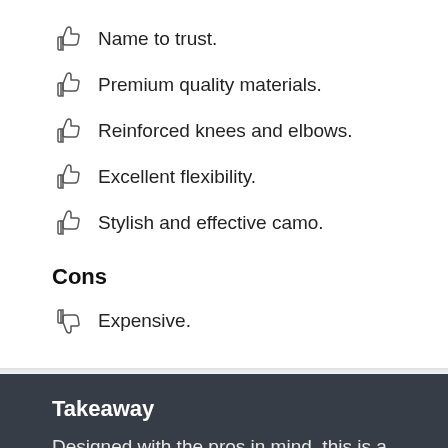Name to trust.
Premium quality materials.
Reinforced knees and elbows.
Excellent flexibility.
Stylish and effective camo.
Cons
Expensive.
Takeaway
Designed with the pros in mind, this is a top-quality wetsuit from one of the leading spearfishing and freediving brands on the market, and the camouflage is one of the most